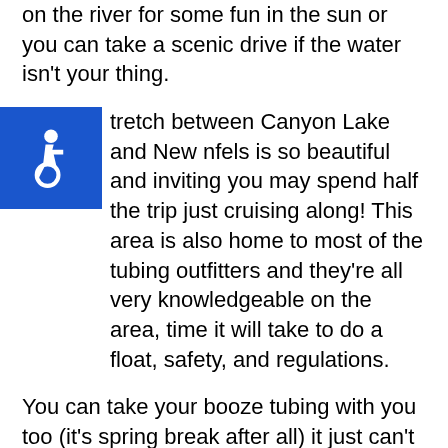on the river for some fun in the sun or you can take a scenic drive if the water isn't your thing.
stretch between Canyon Lake and New nfels is so beautiful and inviting you may spend half the trip just cruising along! This area is also home to most of the tubing outfitters and they're all very knowledgeable on the area, time it will take to do a float, safety, and regulations.
[Figure (illustration): Wheelchair accessibility icon: white wheelchair symbol on blue square background]
You can take your booze tubing with you too (it's spring break after all) it just can't be in a disposable container!
Austin
Austin is home to many universities which makes it a great destination for Spring Break for young people. It's a city that knows how to party...thanks to all those universities and their students. There are music venues offering a variety of entertainment choices